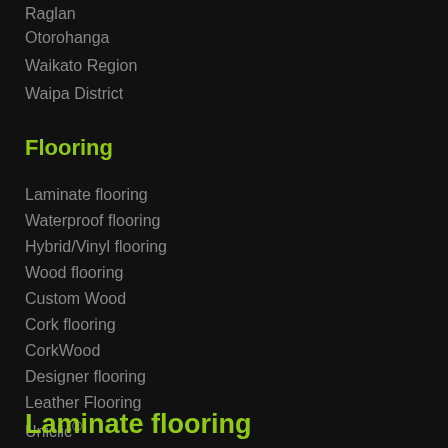Raglan
Otorohanga
Waikato Region
Waipa District
Flooring
Laminate flooring
Waterproof flooring
Hybrid/Vinyl flooring
Wood flooring
Custom Wood
Cork flooring
CorkWood
Designer flooring
Leather Flooring
Uniclic®
Laminate flooring